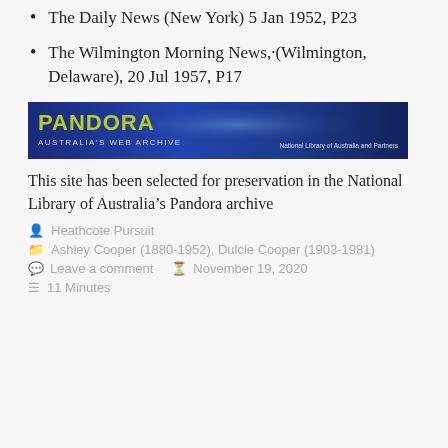The Daily News (New York) 5 Jan 1952, P23
The Wilmington Morning News,·(Wilmington, Delaware), 20 Jul 1957, P17
[Figure (screenshot): Pandora Australia's Web Archive banner — dark blue background with 'PANDORA AUSTRALIA'S WEB ARCHIVE' text on left and 'National Library of Australia and Partners' on right]
This site has been selected for preservation in the National Library of Australia’s Pandora archive
Heathcote Pursuit
Ashley Cooper (1880-1952), Dulcie Cooper (1903-1981)
Leave a comment   November 19, 2020
11 Minutes